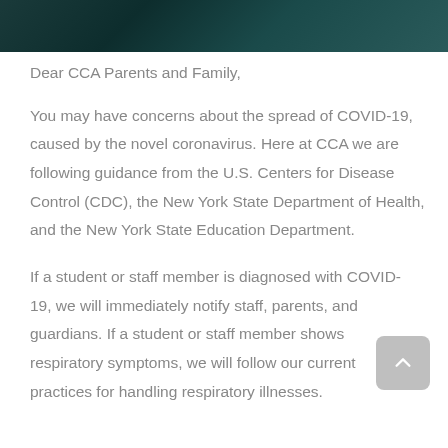[Figure (photo): Dark teal/green header image, possibly showing a person or abstract background]
Dear CCA Parents and Family,
You may have concerns about the spread of COVID-19, caused by the novel coronavirus. Here at CCA we are following guidance from the U.S. Centers for Disease Control (CDC), the New York State Department of Health, and the New York State Education Department.
If a student or staff member is diagnosed with COVID-19, we will immediately notify staff, parents, and guardians. If a student or staff member shows respiratory symptoms, we will follow our current practices for handling respiratory illnesses.